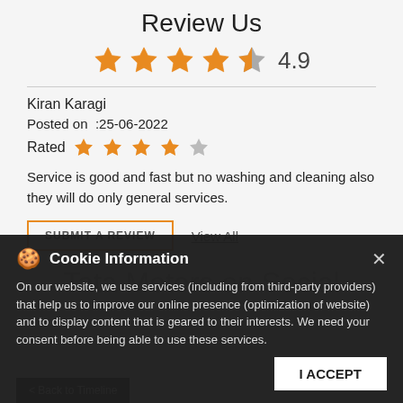Review Us
4.9 (overall rating with 4.9 stars out of 5)
Kiran Karagi
Posted on  :25-06-2022
Rated  ★★★★☆
Service is good and fast but no washing and cleaning also they will do only general services.
SUBMIT A REVIEW   View All
Cookie Information
On our website, we use services (including from third-party providers) that help us to improve our online presence (optimization of website) and to display content that is geared to their interests. We need your consent before being able to use these services.
Tata Motors on Social
I ACCEPT
< Back to Timeline